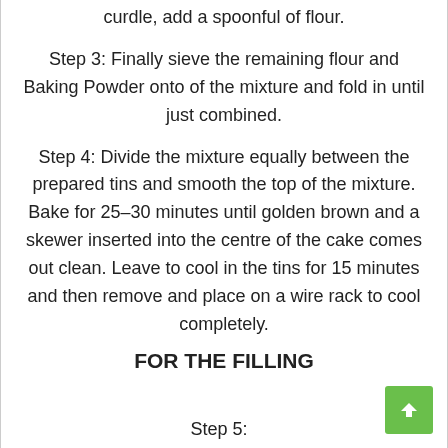curdle, add a spoonful of flour.
Step 3: Finally sieve the remaining flour and Baking Powder onto of the mixture and fold in until just combined.
Step 4: Divide the mixture equally between the prepared tins and smooth the top of the mixture. Bake for 25–30 minutes until golden brown and a skewer inserted into the centre of the cake comes out clean. Leave to cool in the tins for 15 minutes and then remove and place on a wire rack to cool completely.
FOR THE FILLING